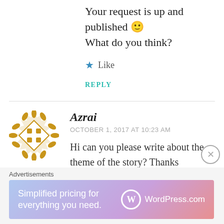Your request is up and published 🙂 What do you think?
★ Like
REPLY
Azrai
OCTOBER 1, 2017 AT 10:23 AM
Hi can you please write about the theme of the story? Thanks
[Figure (logo): WordPress.com advertisement banner with text 'Simplified pricing for everything you need.' and WordPress.com logo]
Advertisements